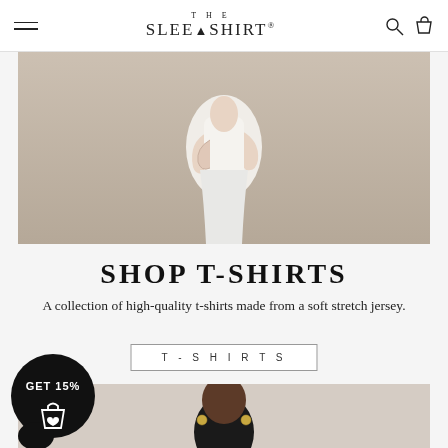THE SLEEP SHIRT®
[Figure (photo): Woman in white top and white pants sitting, holding her arm, on a neutral background]
SHOP T-SHIRTS
A collection of high-quality t-shirts made from a soft stretch jersey.
T-SHIRTS
[Figure (photo): GET 15% promo badge with shopping bag with heart icon, and partial view of a woman in a dark top on a light background]